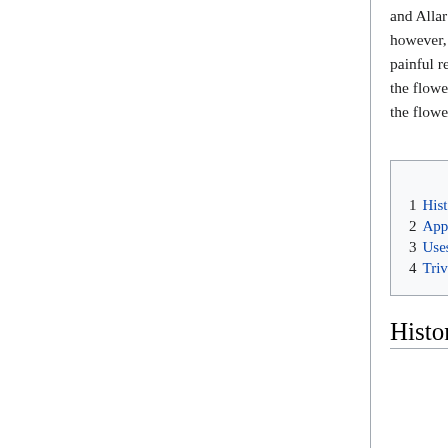and Allar traditions across the island groups. By the time the Chrysant War had come to an end however, the flower was transformed into a symbol of victory for the Regalian Empire and a painful reminder of the past for the Allar and Slizzar. To this day, the Regalian Empire proudly uses the flower as a constant reminder of their victory, despite the fact that the Regalians nearly drove the flower to extinction following the war.
| Contents |
| --- |
| 1 History |
| 2 Appearance |
| 3 Uses and Abilities |
| 4 Trivia |
History